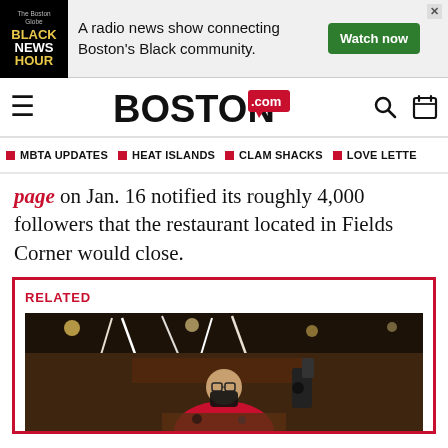[Figure (screenshot): Advertisement banner for Black News Hour radio show. Shows BLACK NEWS HOUR logo on left, text 'A radio news show connecting Boston's Black community.' in center, green 'Watch now' button on right.]
BOSTON.com navigation header with hamburger menu, Boston.com logo, search and calendar icons
MBTA UPDATES   HEAT ISLANDS   CLAM SHACKS   LOVE LETTE
page on Jan. 16 notified its roughly 4,000 followers that the restaurant located in Fields Corner would close.
RELATED
[Figure (photo): Interior of a restaurant with a person wearing a red shirt and black mask, paper chain decorations hanging from ceiling, camera equipment visible, dim restaurant lighting.]